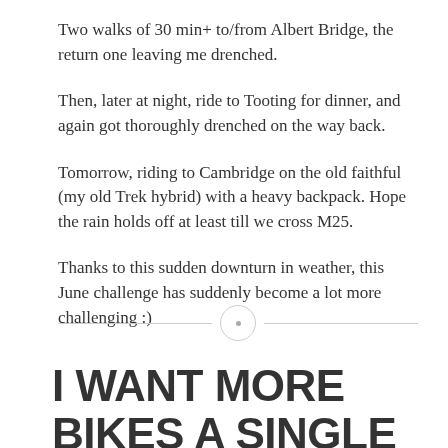Two walks of 30 min+ to/from Albert Bridge, the return one leaving me drenched.
Then, later at night, ride to Tooting for dinner, and again got thoroughly drenched on the way back.
Tomorrow, riding to Cambridge on the old faithful (my old Trek hybrid) with a heavy backpack. Hope the rain holds off at least till we cross M25.
Thanks to this sudden downturn in weather, this June challenge has suddenly become a lot more challenging :)
I WANT MORE BIKES A SINGLE SPEED FIXIE...